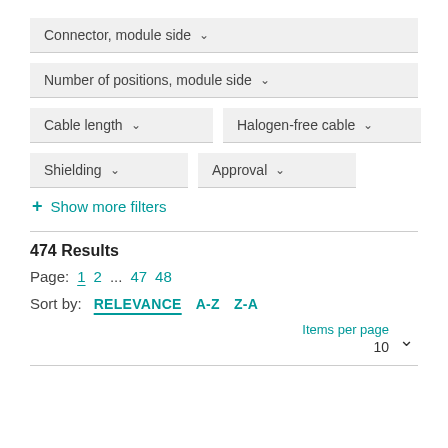Connector, module side ▾
Number of positions, module side ▾
Cable length ▾
Halogen-free cable ▾
Shielding ▾
Approval ▾
+ Show more filters
474 Results
Page: 1 2 ... 47 48
Sort by: RELEVANCE A-Z Z-A
Items per page 10